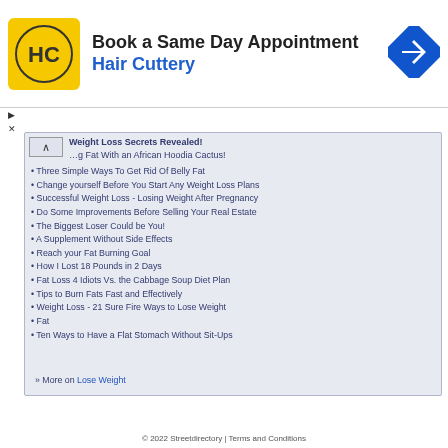[Figure (other): Hair Cuttery advertisement banner with logo and navigation icon. Text: Book a Same Day Appointment, Hair Cuttery]
Weight Loss Secrets Revealed!
...g Fat With an African Hoodia Cactus!
Three Simple Ways To Get Rid Of Belly Fat
Change yourself Before You Start Any Weight Loss Plans
Successful Weight Loss - Losing Weight After Pregnancy
Do Some Improvements Before Selling Your Real Estate
The Biggest Loser Could be You!
A Supplement Without Side Effects
Reach your Fat Burning Goal
How I Lost 18 Pounds in 2 Days
Fat Loss 4 Idiots Vs. the Cabbage Soup Diet Plan
Tips to Burn Fats Fast and Effectively
Weight Loss - 21 Sure Fire Ways to Lose Weight
Fat
Ten Ways to Have a Flat Stomach Without Sit-Ups
» More on Lose Weight
© 2022 Streetdirectory | Terms and Conditions